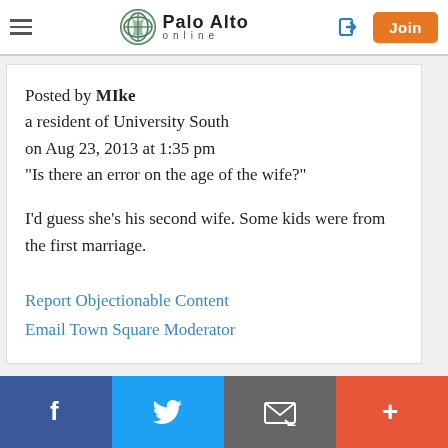Palo Alto online
Posted by MIke
a resident of University South
on Aug 23, 2013 at 1:35 pm
"Is there an error on the age of the wife?"
I'd guess she's his second wife. Some kids were from the first marriage.
Report Objectionable Content
Email Town Square Moderator